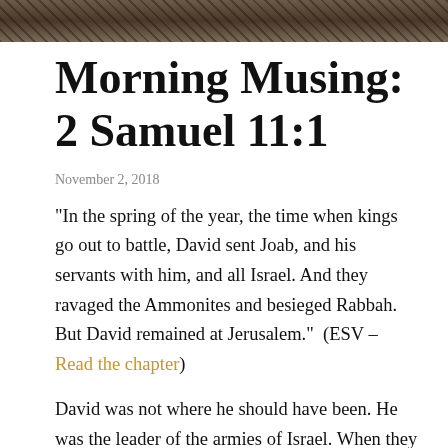[Figure (photo): Header image showing wooden objects, dark brown tones, decorative banner photograph]
Morning Musing: 2 Samuel 11:1
November 2, 2018
“In the spring of the year, the time when kings go out to battle, David sent Joab, and his servants with him, and all Israel. And they ravaged the Ammonites and besieged Rabbah. But David remained at Jerusalem.”  (ESV – Read the chapter)
David was not where he should have been. He was the leader of the armies of Israel. When they went out to battle, he was supposed to be at the front of